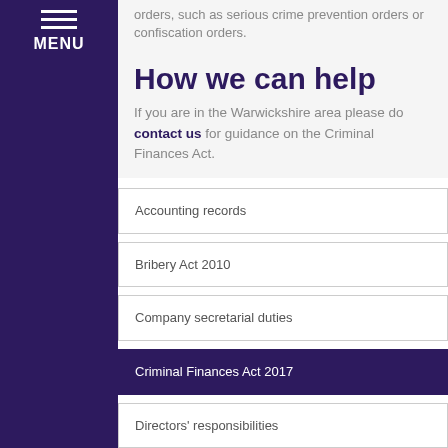MENU
orders, such as serious crime prevention orders or confiscation orders.
How we can help
If you are in the Warwickshire area please do contact us for guidance on the Criminal Finances Act.
Accounting records
Bribery Act 2010
Company secretarial duties
Criminal Finances Act 2017
Directors' responsibilities